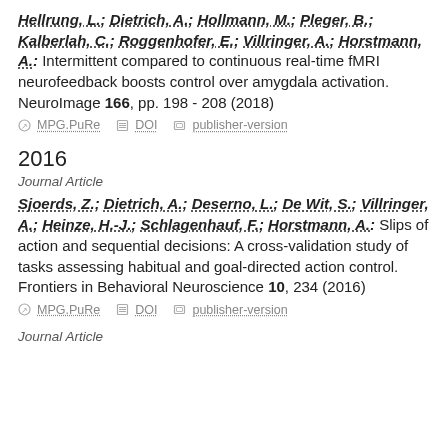Hellrung, L.; Dietrich, A.; Hollmann, M.; Pleger, B.; Kalberlah, C.; Roggenhofer, E.; Villringer, A.; Horstmann, A.: Intermittent compared to continuous real-time fMRI neurofeedback boosts control over amygdala activation. NeuroImage 166, pp. 198 - 208 (2018)
MPG.PuRe   DOI   publisher-version
2016
Journal Article
Sjoerds, Z.; Dietrich, A.; Deserno, L.; De Wit, S.; Villringer, A.; Heinze, H.-J.; Schlagenhauf, F.; Horstmann, A.: Slips of action and sequential decisions: A cross-validation study of tasks assessing habitual and goal-directed action control. Frontiers in Behavioral Neuroscience 10, 234 (2016)
MPG.PuRe   DOI   publisher-version
Journal Article